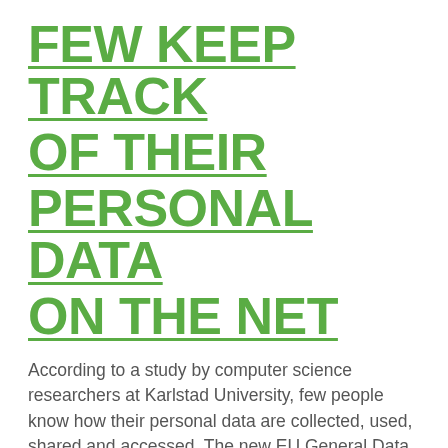FEW KEEP TRACK OF THEIR PERSONAL DATA ON THE NET
According to a study by computer science researchers at Karlstad University, few people know how their personal data are collected, used, shared and accessed. The new EU General Data Protection Regulation (GDPR), coming into effect in 2018, will include higher demands on the possibility for users to manage their own personal information.